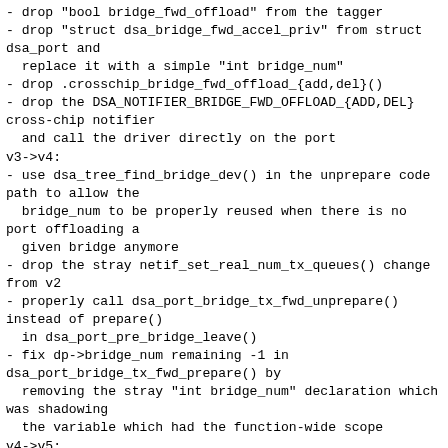- drop "bool bridge_fwd_offload" from the tagger
- drop "struct dsa_bridge_fwd_accel_priv" from struct dsa_port and
  replace it with a simple "int bridge_num"
- drop .crosschip_bridge_fwd_offload_{add,del}()
- drop the DSA_NOTIFIER_BRIDGE_FWD_OFFLOAD_{ADD,DEL} cross-chip notifier
  and call the driver directly on the port
v3->v4:
- use dsa_tree_find_bridge_dev() in the unprepare code path to allow the
  bridge_num to be properly reused when there is no port offloading a
  given bridge anymore
- drop the stray netif_set_real_num_tx_queues() change from v2
- properly call dsa_port_bridge_tx_fwd_unprepare() instead of prepare()
  in dsa_port_pre_bridge_leave()
- fix dp->bridge_num remaining -1 in dsa_port_bridge_tx_fwd_prepare() by
  removing the stray "int bridge_num" declaration which was shadowing
  the variable which had the function-wide scope
v4->v5:
- rename functions for naming consistency
- move dsa_port_bridge_tx_fwd_unoffload to dsa_port_bridge_leave instead
  of pre_leave, so that we won't have the problem with
dp->bridge_dev